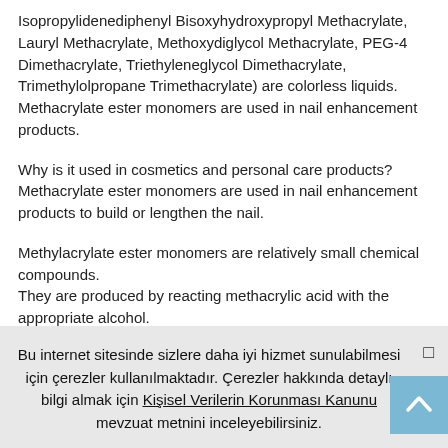Isopropylidenediphenyl Bisoxyhydroxypropyl Methacrylate, Lauryl Methacrylate, Methoxydiglycol Methacrylate, PEG-4 Dimethacrylate, Triethyleneglycol Dimethacrylate, Trimethylolpropane Trimethacrylate) are colorless liquids. Methacrylate ester monomers are used in nail enhancement products.
Why is it used in cosmetics and personal care products? Methacrylate ester monomers are used in nail enhancement products to build or lengthen the nail.
Methylacrylate ester monomers are relatively small chemical compounds.
They are produced by reacting methacrylic acid with the appropriate alcohol.
Bu internet sitesinde sizlere daha iyi hizmet sunulabilmesi için çerezler kullanılmaktadır. Çerezler hakkında detaylı bilgi almak için Kişisel Verilerin Korunması Kanunu mevzuat metnini inceleyebilirsiniz.